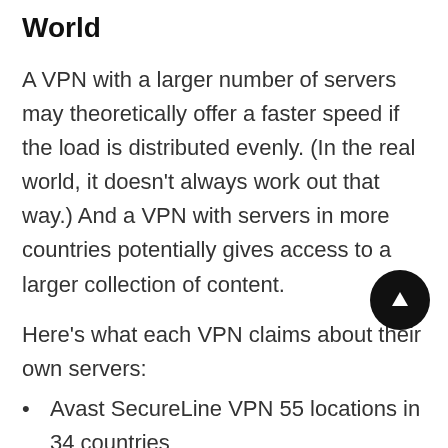World
A VPN with a larger number of servers may theoretically offer a faster speed if the load is distributed evenly. (In the real world, it doesn't always work out that way.) And a VPN with servers in more countries potentially gives access to a larger collection of content.
Here's what each VPN claims about their own servers:
Avast SecureLine VPN 55 locations in 34 countries
Astrill VPN 115 cities in 64 countries
PureVPN 2,000+ servers in 140+